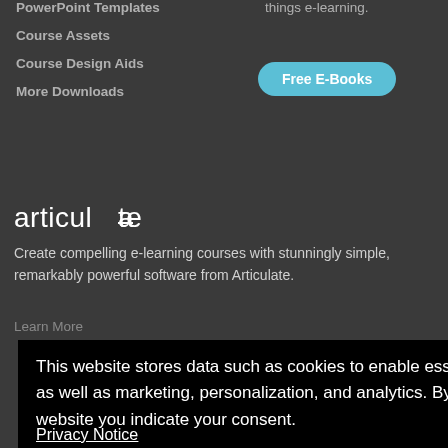PowerPoint Templates
Course Assets
Course Design Aids
More Downloads
things e-learning.
[Figure (other): Free E-Books button (rounded pill shape, cyan/light blue background)]
[Figure (logo): articulate logo in white lowercase text with a macron over the a]
Create compelling e-learning courses with stunningly simple, remarkably powerful software from Articulate.
Learn More
This website stores data such as cookies to enable essential site functionality, as well as marketing, personalization, and analytics. By remaining on this website you indicate your consent.
Privacy Notice
eators
Privacy
Accept and Close ✕
k on this page to allow t of this AdRoll tracking
Y A b